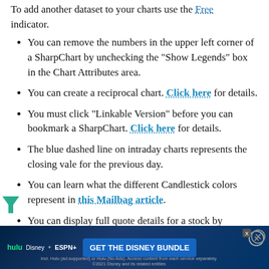To add another dataset to your charts use the Free indicator.
You can remove the numbers in the upper left corner of a SharpChart by unchecking the "Show Legends" box in the Chart Attributes area.
You can create a reciprocal chart. Click here for details.
You must click "Linkable Version" before you can bookmark a SharpChart. Click here for details.
The blue dashed line on intraday charts represents the closing vale for the previous day.
You can learn what the different Candlestick colors represent in this Mailbag article.
You can display full quote details for a stock by clicking on the chart and then looking in the Chart Attributes section...
[Figure (infographic): Advertisement banner for Disney Bundle (Hulu, Disney+, ESPN+) with 'GET THE DISNEY BUNDLE' call to action button]